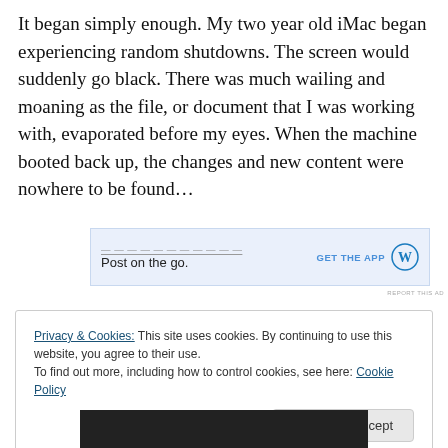It began simply enough. My two year old iMac began experiencing random shutdowns. The screen would suddenly go black. There was much wailing and moaning as the file, or document that I was working with, evaporated before my eyes. When the machine booted back up, the changes and new content were nowhere to be found…
[Figure (screenshot): WordPress app advertisement banner: 'Post on the go.' with GET THE APP text and WordPress logo on blue-tinted background]
REPORT THIS AD
Privacy & Cookies: This site uses cookies. By continuing to use this website, you agree to their use.
To find out more, including how to control cookies, see here: Cookie Policy
Close and accept